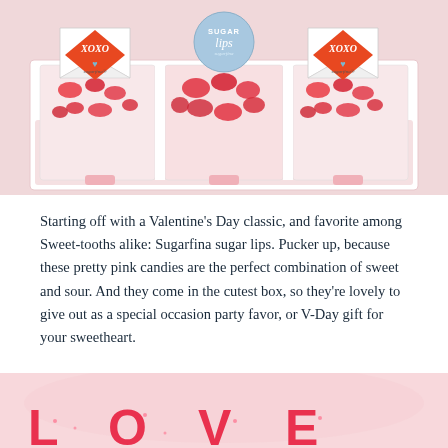[Figure (photo): Photo of Sugarfina candy boxes with XOXO envelope labels on the sides and a Sugar Lips label in the center, filled with pink sugar candy lips. The boxes are arranged in a transparent container on a light pink background.]
Starting off with a Valentine's Day classic, and favorite among Sweet-tooths alike: Sugarfina sugar lips. Pucker up, because these pretty pink candies are the perfect combination of sweet and sour. And they come in the cutest box, so they're lovely to give out as a special occasion party favor, or V-Day gift for your sweetheart.
[Figure (photo): Partial photo of a pink background with red candy letters spelling LOVE visible at the bottom of the page.]